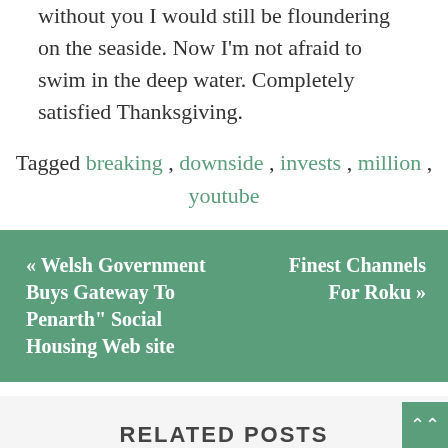without you I would still be floundering on the seaside. Now I'm not afraid to swim in the deep water. Completely satisfied Thanksgiving.
Tagged breaking, downside, invests, million, youtube
« Welsh Government Buys Gateway To Penarth" Social Housing Web site
Finest Channels For Roku »
RELATED POSTS